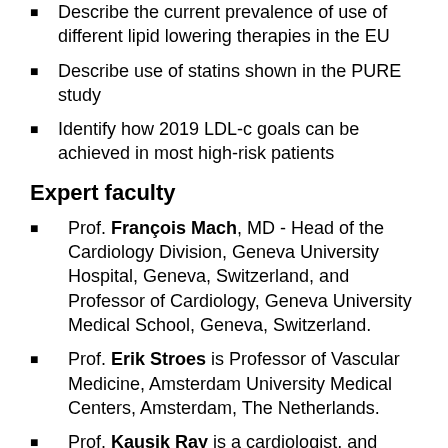Describe the current prevalence of use of different lipid lowering therapies in the EU
Describe use of statins shown in the PURE study
Identify how 2019 LDL-c goals can be achieved in most high-risk patients
Expert faculty
Prof. François Mach, MD - Head of the Cardiology Division, Geneva University Hospital, Geneva, Switzerland, and Professor of Cardiology, Geneva University Medical School, Geneva, Switzerland.
Prof. Erik Stroes is Professor of Vascular Medicine, Amsterdam University Medical Centers, Amsterdam, The Netherlands.
Prof. Kausik Ray is a cardiologist, and